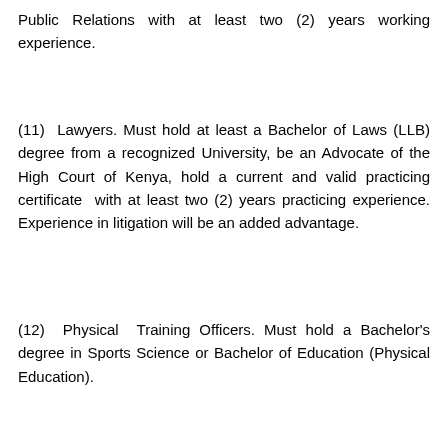Public Relations with at least two (2) years working experience.
(11) Lawyers. Must hold at least a Bachelor of Laws (LLB) degree from a recognized University, be an Advocate of the High Court of Kenya, hold a current and valid practicing certificate with at least two (2) years practicing experience. Experience in litigation will be an added advantage.
(12) Physical Training Officers. Must hold a Bachelor's degree in Sports Science or Bachelor of Education (Physical Education).